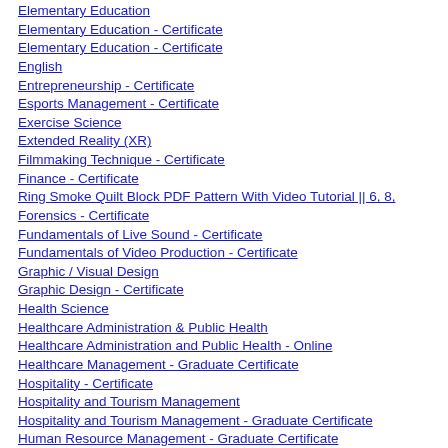Elementary Education
Elementary Education - Certificate
Elementary Education - Certificate
English
Entrepreneurship - Certificate
Esports Management - Certificate
Exercise Science
Extended Reality (XR)
Filmmaking Technique - Certificate
Finance - Certificate
Ring Smoke Quilt Block PDF Pattern With Video Tutorial || 6, 8,
Forensics - Certificate
Fundamentals of Live Sound - Certificate
Fundamentals of Video Production - Certificate
Graphic / Visual Design
Graphic Design - Certificate
Health Science
Healthcare Administration & Public Health
Healthcare Administration and Public Health - Online
Healthcare Management - Graduate Certificate
Hospitality - Certificate
Hospitality and Tourism Management
Hospitality and Tourism Management - Graduate Certificate
Human Resource Management - Graduate Certificate
Innovation and Entrepreneurship - Graduate Certificate